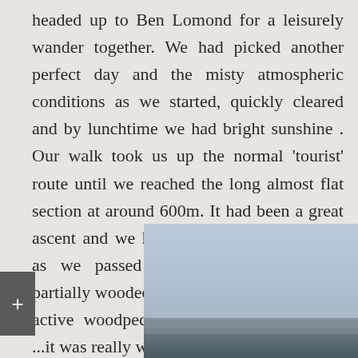headed up to Ben Lomond for a leisurely wander together. We had picked another perfect day and the misty atmospheric conditions as we started, quickly cleared and by lunchtime we had bright sunshine . Our walk took us up the normal ‘tourist’ route until we reached the long almost flat section at around 600m. It had been a great ascent and we heard lots of different birds as we passed through the lower now partially wooded sections ...including a very active woodpecker somewhere close by... ...it was really wonderful.
[Figure (photo): Two photos side by side: left photo shows a misty blue-grey atmospheric landscape (Ben Lomond), right side shows two stacked images - top is a light grey/white area and bottom shows an abstract painting of mountains with blue and yellow colors in an indoor gallery setting.]